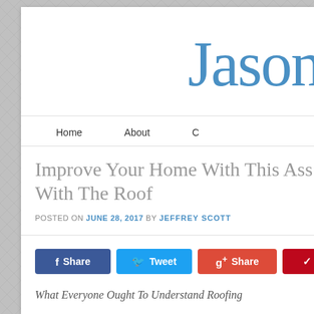Jason
Home   About   C
Improve Your Home With This Ass... With The Roof
POSTED ON JUNE 28, 2017 BY JEFFREY SCOTT
Share  Tweet  Share  Pin  E
What Everyone Ought To Understand Roofing